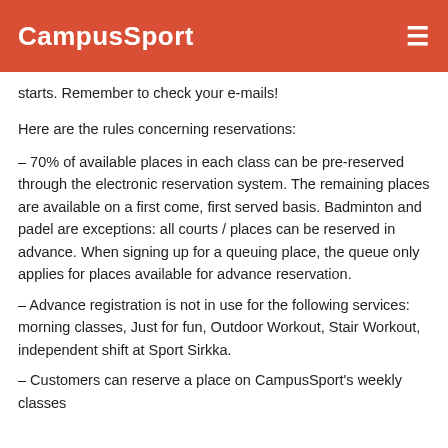CampusSport
starts. Remember to check your e-mails!
Here are the rules concerning reservations:
– 70% of available places in each class can be pre-reserved through the electronic reservation system. The remaining places are available on a first come, first served basis. Badminton and padel are exceptions: all courts / places can be reserved in advance. When signing up for a queuing place, the queue only applies for places available for advance reservation.
– Advance registration is not in use for the following services: morning classes, Just for fun, Outdoor Workout, Stair Workout, independent shift at Sport Sirkka.
– Customers can reserve a place on CampusSport's weekly classes